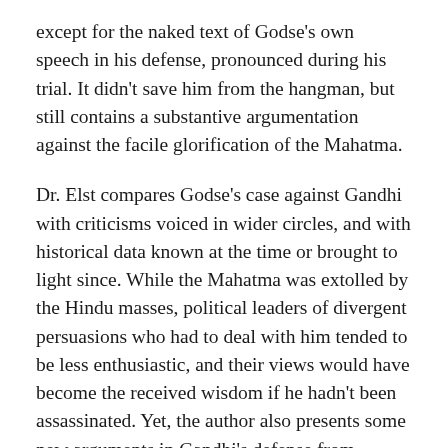except for the naked text of Godse's own speech in his defense, pronounced during his trial. It didn't save him from the hangman, but still contains a substantive argumentation against the facile glorification of the Mahatma.
Dr. Elst compares Godse's case against Gandhi with criticisms voiced in wider circles, and with historical data known at the time or brought to light since. While the Mahatma was extolled by the Hindu masses, political leaders of divergent persuasions who had to deal with him tended to be less enthusiastic, and their views would have become the received wisdom if he hadn't been assassinated. Yet, the author also presents some new arguments in Gandhi's defense from unexpected quarters.
Re